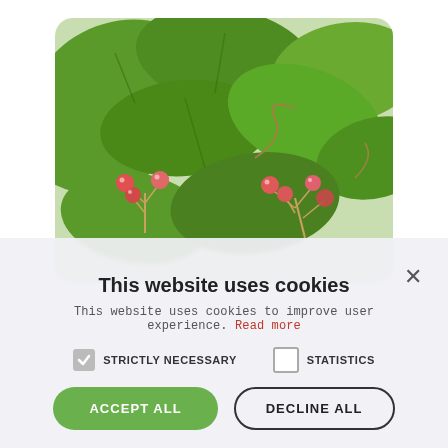[Figure (photo): Close-up photograph of a plant with green leaves and small red/pink berries on stems, with a white background. The photo is displayed in a rounded-corner card.]
This website uses cookies
This website uses cookies to improve user experience. Read more
STRICTLY NECESSARY  STATISTICS
ACCEPT ALL   DECLINE ALL